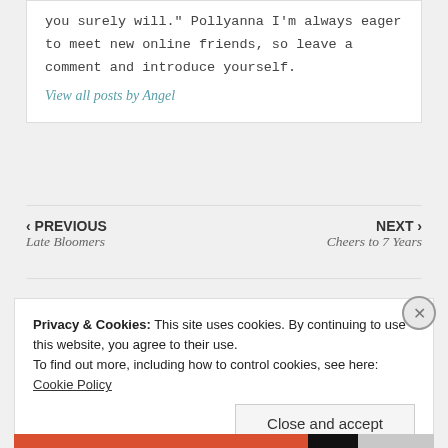you surely will." Pollyanna I'm always eager to meet new online friends, so leave a comment and introduce yourself.
View all posts by Angel
‹ PREVIOUS
Late Bloomers
NEXT ›
Cheers to 7 Years
Privacy & Cookies: This site uses cookies. By continuing to use this website, you agree to their use.
To find out more, including how to control cookies, see here: Cookie Policy
Close and accept